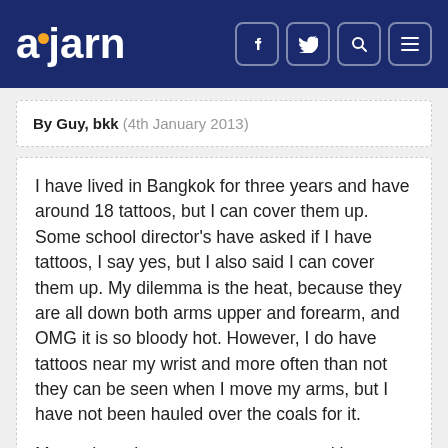ajarn
By Guy, bkk (4th January 2013)
I have lived in Bangkok for three years and have around 18 tattoos, but I can cover them up. Some school director's have asked if I have tattoos, I say yes, but I also said I can cover them up. My dilemma is the heat, because they are all down both arms upper and forearm, and OMG it is so bloody hot. However, I do have tattoos near my wrist and more often than not they can be seen when I move my arms, but I have not been hauled over the coals for it.
My students have seen my tattoos and have wanted to know how many I have, in one or two instances I have uncovered my arms, but have said shhh, don't tell